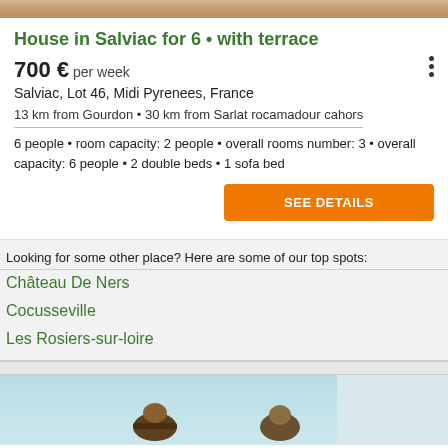[Figure (photo): Top portion of a property listing image, partially cropped]
House in Salviac for 6 • with terrace
700 € per week
Salviac, Lot 46, Midi Pyrenees, France
13 km from Gourdon • 30 km from Sarlat rocamadour cahors
6 people • room capacity: 2 people • overall rooms number: 3 • overall capacity: 6 people • 2 double beds • 1 sofa bed
SEE DETAILS
Looking for some other place? Here are some of our top spots:
Château De Ners
Cocusseville
Les Rosiers-sur-loire
[Figure (photo): Bottom portion showing people outdoors with light blue sky background]